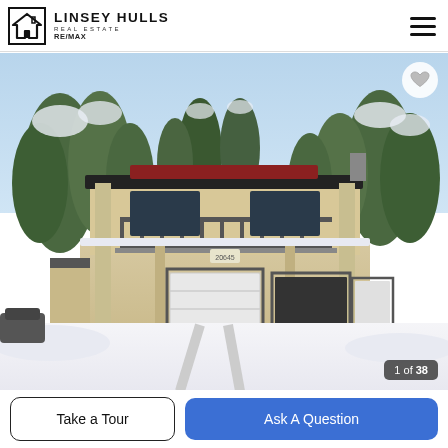LINSEY HULLS REAL ESTATE RE/MAX
[Figure (photo): Exterior photo of a large multi-story house in a snowy mountain setting, surrounded by tall evergreen trees. The house has a wide balcony, two garage bays, and decorative columns. Snow covers the ground and the driveway shows tire tracks. A heart/favorite button appears top-right, and an image counter '1 of 38' appears bottom-right.]
1 of 38
Take a Tour
Ask A Question